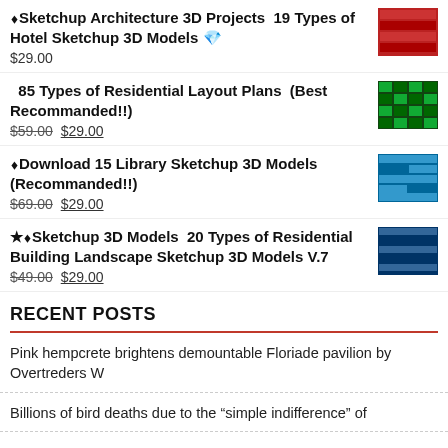⬧Sketchup Architecture 3D Projects  19 Types of Hotel Sketchup 3D Models
$29.00
85 Types of Residential Layout Plans  (Best Recommanded!!)
$59.00 $29.00
⬧Download 15 Library Sketchup 3D Models (Recommanded!!)
$69.00 $29.00
★⬧Sketchup 3D Models  20 Types of Residential Building Landscape Sketchup 3D Models V.7
$49.00 $29.00
RECENT POSTS
Pink hempcrete brightens demountable Floriade pavilion by Overtreders W
Billions of bird deaths due to the “simple indifference” of